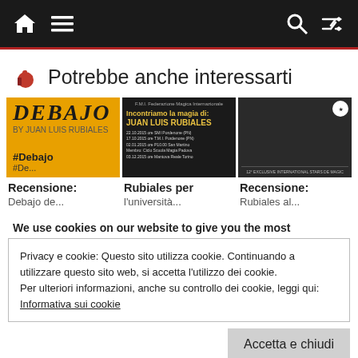Navigation bar with home, menu, search, and shuffle icons
Potrebbe anche interessarti
[Figure (photo): Three article cards: 1) Yellow '#Debajo' book cover, 2) 'Incontriamo la magia di Juan Luis Rubiales' dark promotional poster, 3) Dark magic show exclusive international stars image]
Recensione:
Rubiales per
Recensione:
We use cookies on our website to give you the most
Privacy e cookie: Questo sito utilizza cookie. Continuando a utilizzare questo sito web, si accetta l'utilizzo dei cookie.
Per ulteriori informazioni, anche su controllo dei cookie, leggi qui:
Informativa sui cookie
Accetta e chiudi